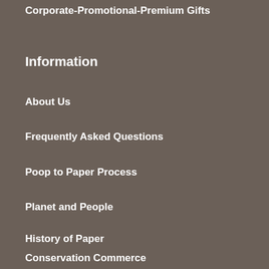Corporate-Promotional-Premium Gifts
Information
About Us
Frequently Asked Questions
Poop to Paper Process
Planet and People
History of Paper
Conservation Commerce